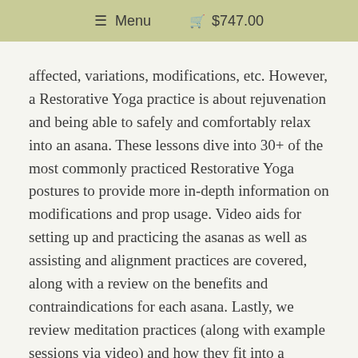Menu  $747.00
affected, variations, modifications, etc. However, a Restorative Yoga practice is about rejuvenation and being able to safely and comfortably relax into an asana. These lessons dive into 30+ of the most commonly practiced Restorative Yoga postures to provide more in-depth information on modifications and prop usage. Video aids for setting up and practicing the asanas as well as assisting and alignment practices are covered, along with a review on the benefits and contraindications for each asana. Lastly, we review meditation practices (along with example sessions via video) and how they fit into a Restorative class.